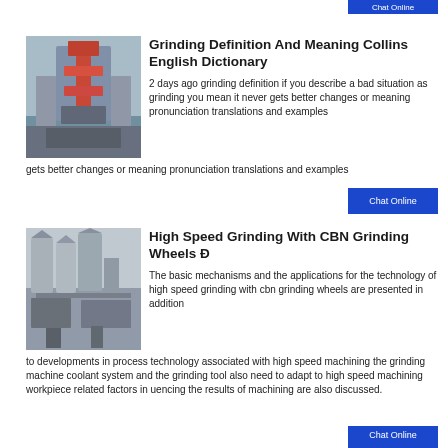[Figure (photo): Partially visible blue Chat Online button at top right]
[Figure (photo): Industrial grinding machine in a factory setting]
Grinding Definition And Meaning Collins English Dictionary
2 days ago grinding definition if you describe a bad situation as grinding you mean it never gets better changes or meaning pronunciation translations and examples
[Figure (photo): Blue Chat Online button]
[Figure (photo): Industrial silos and grinding equipment machinery]
High Speed Grinding With CBN Grinding Wheels Đ
The basic mechanisms and the applications for the technology of high speed grinding with cbn grinding wheels are presented in addition to developments in process technology associated with high speed machining the grinding machine coolant system and the grinding tool also need to adapt to high speed machining workpiece related factors in uencing the results of machining are also discussed.
[Figure (photo): Partially visible blue Chat Online button at bottom right]